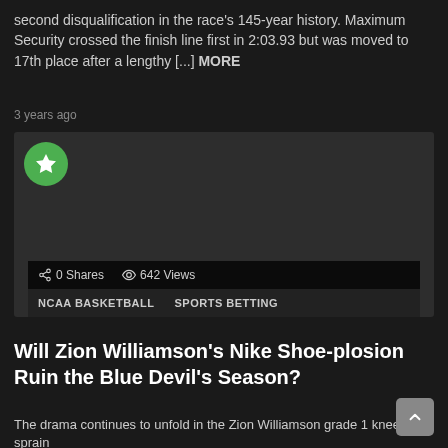second disqualification in the race's 145-year history. Maximum Security crossed the finish line first in 2:03.93 but was moved to 17th place after a lengthy [...] MORE
3 years ago
[Figure (screenshot): Dark media player thumbnail with a green circular star icon in the top-left corner. Media stats bar showing 0 Shares and 642 Views. Tags: NCAA BASKETBALL, SPORTS BETTING.]
Will Zion Williamson's Nike Shoe-plosion Ruin the Blue Devil's Season?
The drama continues to unfold in the Zion Williamson grade 1 knee sprain